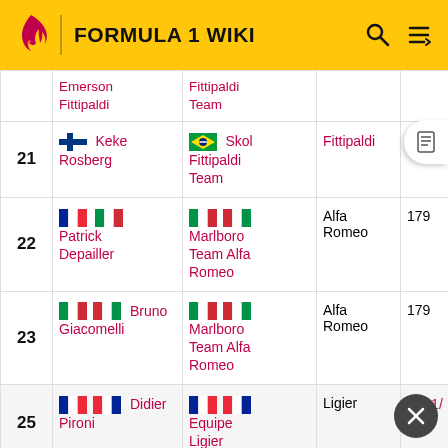FORMULA 1 WIKI
| # | Driver | Team | Constructor | Car |
| --- | --- | --- | --- | --- |
|  | Emerson Fittipaldi | Fittipaldi Team |  |  |
| 21 | Keke Rosberg | Skol Fittipaldi Team | Fittipaldi | F7 |
| 22 | Patrick Depailler | Marlboro Team Alfa Romeo | Alfa Romeo | 179 |
| 23 | Bruno Giacomelli | Marlboro Team Alfa Romeo | Alfa Romeo | 179 |
| 25 | Didier Pironi | Equipe Ligier | Ligier | JS11/ |